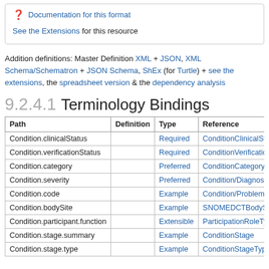Documentation for this format
See the Extensions for this resource
Addition definitions: Master Definition XML + JSON, XML Schema/Schematron + JSON Schema, ShEx (for Turtle) + see the extensions, the spreadsheet version & the dependency analysis
9.2.4.1 Terminology Bindings
| Path | Definition | Type | Reference |
| --- | --- | --- | --- |
| Condition.clinicalStatus |  | Required | ConditionClinicalStatusCodes |
| Condition.verificationStatus |  | Required | ConditionVerificationStatus |
| Condition.category |  | Preferred | ConditionCategoryCodes |
| Condition.severity |  | Preferred | Condition/DiagnosisSeverity |
| Condition.code |  | Example | Condition/Problem/Diagnosis… |
| Condition.bodySite |  | Example | SNOMEDCTBodyStructures |
| Condition.participant.function |  | Extensible | ParticipationRoleType |
| Condition.stage.summary |  | Example | ConditionStage |
| Condition.stage.type |  | Example | ConditionStageType |